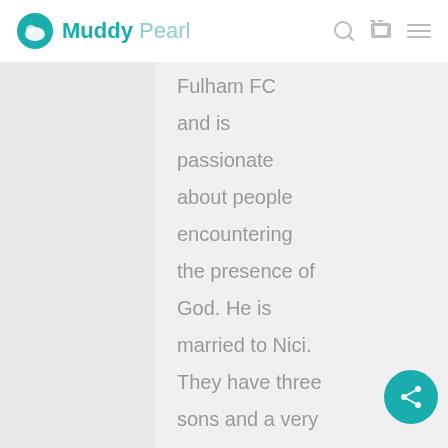Muddy Pearl
Fulham FC and is passionate about people encountering the presence of God. He is married to Nici. They have three sons and a very excitable Labrador called Marley.